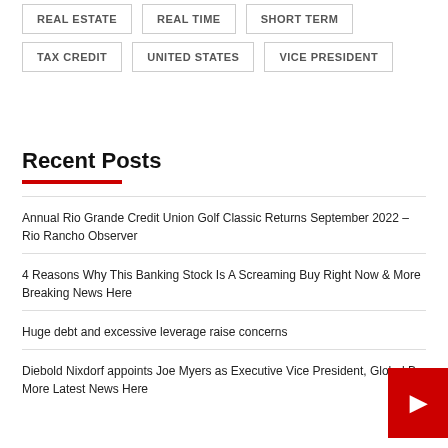REAL ESTATE
REAL TIME
SHORT TERM
TAX CREDIT
UNITED STATES
VICE PRESIDENT
Recent Posts
Annual Rio Grande Credit Union Golf Classic Returns September 2022 – Rio Rancho Observer
4 Reasons Why This Banking Stock Is A Screaming Buy Right Now & More Breaking News Here
Huge debt and excessive leverage raise concerns
Diebold Nixdorf appoints Joe Myers as Executive Vice President, Global Ba... More Latest News Here